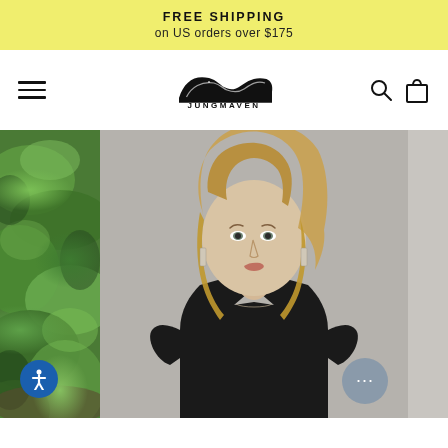FREE SHIPPING
on US orders over $175
[Figure (logo): Jungmaven logo with wave graphic and brand name text]
[Figure (photo): Fashion e-commerce product page showing a woman with blonde hair wearing a black v-neck t-shirt, against a grey background. Left edge shows green tropical foliage. Navigation arrows visible. Accessibility and chat buttons in corners.]